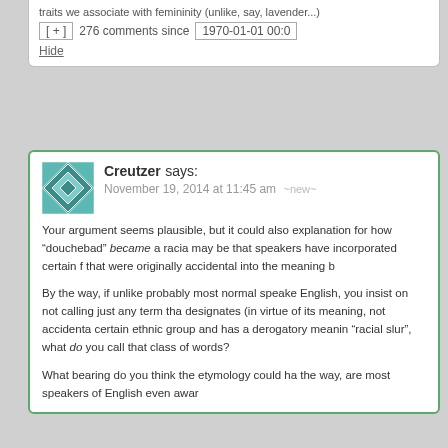traits we associate with femininity (unlike, say, lavender...)
[ + ]  276 comments since  1970-01-01 00:0
Hide
Creutzer says:
November 19, 2014 at 11:45 am ~new~
Your argument seems plausible, but it could also explanation for how “douchebad” became a racia may be that speakers have incorporated certain f that were originally accidental into the meaning b
By the way, if unlike probably most normal speake English, you insist on not calling just any term tha designates (in virtue of its meaning, not accidenta certain ethnic group and has a derogatory meanir “racial slur”, what do you call that class of words?
What bearing do you think the etymology could ha the way, are most speakers of English even awar